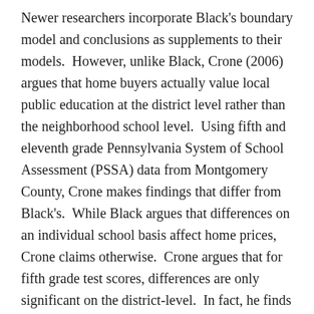Newer researchers incorporate Black's boundary model and conclusions as supplements to their models.  However, unlike Black, Crone (2006) argues that home buyers actually value local public education at the district level rather than the neighborhood school level.  Using fifth and eleventh grade Pennsylvania System of School Assessment (PSSA) data from Montgomery County, Crone makes findings that differ from Black's.  While Black argues that differences on an individual school basis affect home prices, Crone claims otherwise.  Crone argues that for fifth grade test scores, differences are only significant on the district-level.  In fact, he finds that fifth grade test scores are better predictors of house prices than eleventh grade scores.  Perhaps this discrepancy could be attributed to the location of families with young children and the subsequent lack of relocation as the